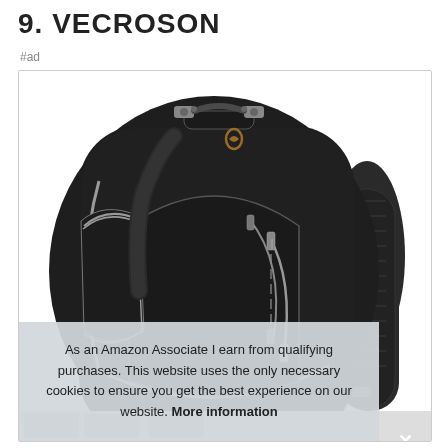9. VECROSON
#ad
[Figure (photo): Black VECROSON laptop backpack with multiple zipper compartments, silver zipper pulls, gray accent piping, padded shoulder straps, and a handle on top. Product shown at an angle on a white background.]
As an Amazon Associate I earn from qualifying purchases. This website uses the only necessary cookies to ensure you get the best experience on our website. More information